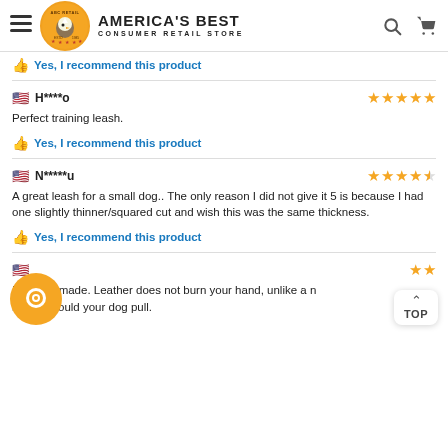America's Best Consumer Retail Store
👍 Yes, I recommend this product
H****o — ★★★★★
Perfect training leash.
👍 Yes, I recommend this product
N*****u — ★★★★½
A great leash for a small dog.. The only reason I did not give it 5 is because I had one slightly thinner/squared cut and wish this was the same thickness.
👍 Yes, I recommend this product
It is [obscured] made. Leather does not burn your hand, unlike a n[ylon] leash, should your dog pull.